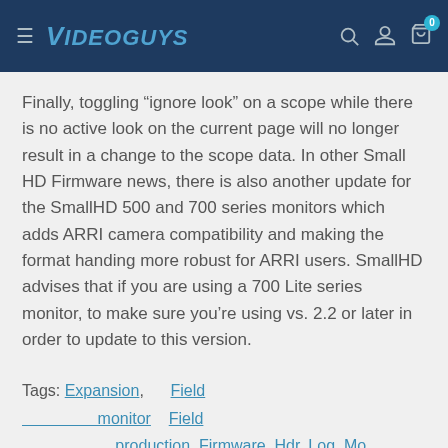Videoguys
Finally, toggling “ignore look” on a scope while there is no active look on the current page will no longer result in a change to the scope data. In other Small HD Firmware news, there is also another update for the SmallHD 500 and 700 series monitors which adds ARRI camera compatibility and making the format handing more robust for ARRI users. SmallHD advises that if you are using a 700 Lite series monitor, to make sure you’re using vs. 2.2 or later in order to update to this version.
Tags: Expansion, Field monitor, Field production, Firmware, Hdr, Log, Mo